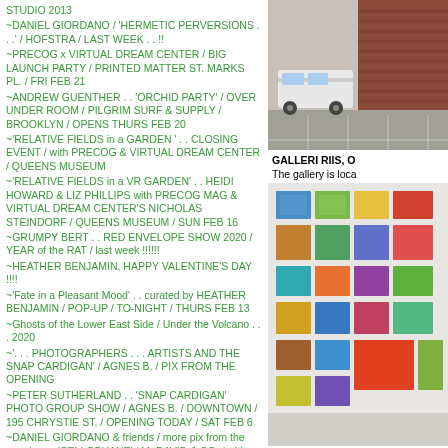STUDIO 2013
~DANIEL GIORDANO / 'HERMETIC PERVERSIONS . . .' / HOFSTRA / LAST WEEK . . !!
~PRECOG x VIRTUAL DREAM CENTER / BIG LAUNCH PARTY / PRINTED MATTER ST. MARKS PL. / FRI FEB 21
~ANDREW GUENTHER . . 'ORCHID PARTY' / OVER UNDER ROOM / PILGRIM SURF & SUPPLY / BROOKLYN / OPENS THURS FEB 20
~'RELATIVE FIELDS in a GARDEN ' . . CLOSING EVENT / with PRECOG & VIRTUAL DREAM CENTER / QUEENS MUSEUM
~'RELATIVE FIELDS in a VR GARDEN' . . HEIDI HOWARD & LIZ PHILLIPS with PRECOG MAG & VIRTUAL DREAM CENTER'S NICHOLAS STEINDORF / QUEENS MUSEUM / SUN FEB 16
~GRUMPY BERT . . RED ENVELOPE SHOW 2020 / YEAR of the RAT / last week !!!!!!!
~HEATHER BENJAMIN, HAPPY VALENTINE'S DAY !!!!
~'Fate in a Pleasant Mood' . . curated by HEATHER BENJAMIN / POP-UP / TO-NIGHT / THURS FEB 13
~Ghosts of the Lower East Side / Under the Volcano . . . 2020
~'. . . PHOTOGRAPHERS . . . ARTISTS AND THE SNAP CARDIGAN' / AGNES B. / PIX FROM THE OPENING
~PETER SUTHERLAND . . 'SNAP CARDIGAN' PHOTO GROUP SHOW / AGNES B. / DOWNTOWN / 195 CHRYSTIE ST. / OPENING TODAY / SAT FEB 6
~DANIEL GIORDANO & friends / more pix from the opening . . 'CELLOPHANE' / M. DAVID & CO. / with shout-out to: NICHOLAS STEINDORF / HEIDI HOWARD & LIZ PHILLIPS / THE QUEENS MUSEUM
~DANIEL GIORDANO . . 'CELLOPHANE' / M. DAVID & CO. / EXTENDED . . THRU SUN FEB 9
January 2020
~DANIEL GIORDANO / CELLOPHANE / M. DAVID & CO / BROOKLYN / OPENS FRI JAN 17
~'STRANGE LOOPS' . . ARTSPACE NEW HAVEN / PIX FROM THE OPENING
[Figure (photo): Exterior photo showing a white van parked near a brick building with a parking lot]
GALLERI RIIS, O
The gallery is loca
[Figure (photo): Interior gallery wall with a grid of colorful photographs mounted on a white wall]